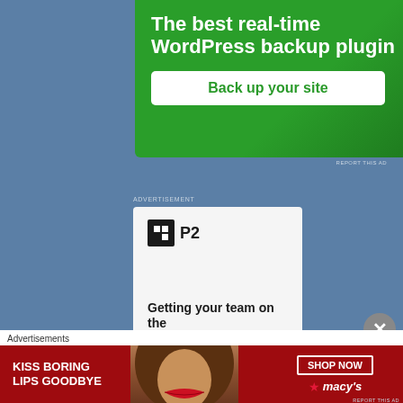[Figure (screenshot): Green WordPress backup plugin ad with white text 'The best real-time WordPress backup plugin' and a white button 'Back up your site']
REPORT THIS AD
ADVERTISEMENT
[Figure (screenshot): P2 product ad with logo and text 'Getting your team on the']
Advertisements
[Figure (screenshot): Macy's ad: KISS BORING LIPS GOODBYE with woman's face and red lips, SHOP NOW button and macy's logo]